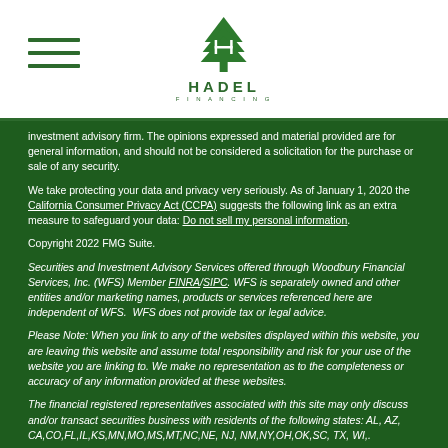Hadel Financing
investment advisory firm. The opinions expressed and material provided are for general information, and should not be considered a solicitation for the purchase or sale of any security.
We take protecting your data and privacy very seriously. As of January 1, 2020 the California Consumer Privacy Act (CCPA) suggests the following link as an extra measure to safeguard your data: Do not sell my personal information.
Copyright 2022 FMG Suite.
Securities and Investment Advisory Services offered through Woodbury Financial Services, Inc. (WFS) Member FINRA/SIPC. WFS is separately owned and other entities and/or marketing names, products or services referenced here are independent of WFS. WFS does not provide tax or legal advice.
Please Note: When you link to any of the websites displayed within this website, you are leaving this website and assume total responsibility and risk for your use of the website you are linking to. We make no representation as to the completeness or accuracy of any information provided at these websites.
The financial registered representatives associated with this site may only discuss and/or transact securities business with residents of the following states: AL, AZ, CA,CO,FL,IL,KS,MN,MO,MS,MT,NC,NE, NJ, NM,NY,OH,OK,SC, TX, WI,.